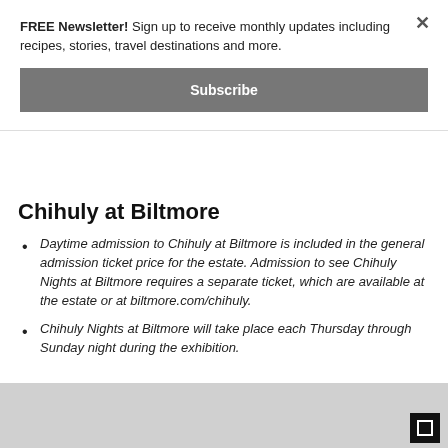FREE Newsletter! Sign up to receive monthly updates including recipes, stories, travel destinations and more.
Subscribe
Chihuly at Biltmore
Daytime admission to Chihuly at Biltmore is included in the general admission ticket price for the estate. Admission to see Chihuly Nights at Biltmore requires a separate ticket, which are available at the estate or at biltmore.com/chihuly.
Chihuly Nights at Biltmore will take place each Thursday through Sunday night during the exhibition.
[Figure (photo): Gray image placeholder at the bottom of the page with an expand/fullscreen icon in the bottom right corner]